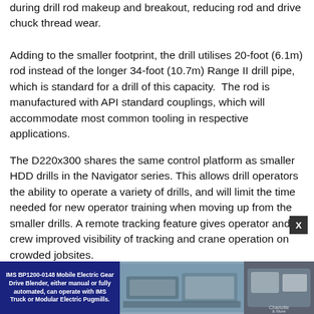during drill rod makeup and breakout, reducing rod and drive chuck thread wear.
Adding to the smaller footprint, the drill utilises 20-foot (6.1m) rod instead of the longer 34-foot (10.7m) Range II drill pipe, which is standard for a drill of this capacity.  The rod is manufactured with API standard couplings, which will accommodate most common tooling in respective applications.
The D220x300 shares the same control platform as smaller HDD drills in the Navigator series. This allows drill operators the ability to operate a variety of drills, and will limit the time needed for new operator training when moving up from the smaller drills. A remote tracking feature gives operator and crew improved visibility of tracking and crane operation on crowded jobsites.
For more information, visit Vermeer Australia's website.
Click h...
[Figure (photo): Blue advertisement banner at bottom of page for IMS BP1200-0148 Mobile Electric Gear Drive Blender, showing machinery images on right side. Close button (X) overlaid on top right of ad.]